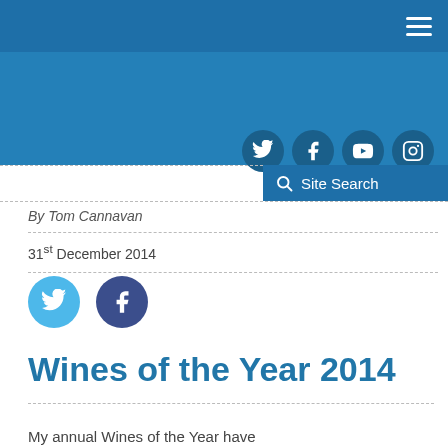Navigation bar with hamburger menu
[Figure (other): Blue header banner with social media icons (Twitter, Facebook, YouTube, Instagram)]
[Figure (other): Site Search bar]
By Tom Cannavan
31st December 2014
[Figure (other): Social share buttons: Twitter and Facebook]
Wines of the Year 2014
My annual Wines of the Year have